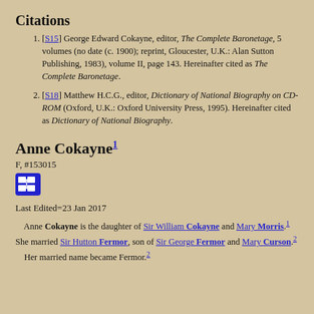Citations
[S15] George Edward Cokayne, editor, The Complete Baronetage, 5 volumes (no date (c. 1900); reprint, Gloucester, U.K.: Alan Sutton Publishing, 1983), volume II, page 143. Hereinafter cited as The Complete Baronetage.
[S18] Matthew H.C.G., editor, Dictionary of National Biography on CD-ROM (Oxford, U.K.: Oxford University Press, 1995). Hereinafter cited as Dictionary of National Biography.
Anne Cokayne1
F, #153015
Last Edited=23 Jan 2017
Anne Cokayne is the daughter of Sir William Cokayne and Mary Morris.1 She married Sir Hutton Fermor, son of Sir George Fermor and Mary Curson.2
    Her married name became Fermor.2